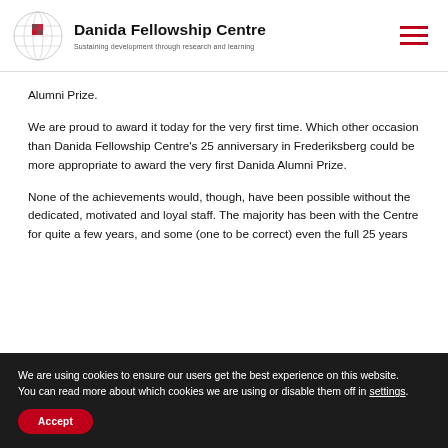Danida Fellowship Centre – Sustaining development through research and learning
Alumni Prize.
We are proud to award it today for the very first time. Which other occasion than Danida Fellowship Centre's 25 anniversary in Frederiksberg could be more appropriate to award the very first Danida Alumni Prize.
None of the achievements would, though, have been possible without the dedicated, motivated and loyal staff. The majority has been with the Centre for quite a few years, and some (one to be correct) even the full 25 years
We are using cookies to ensure our users get the best experience on this website.
You can read more about which cookies we are using or disable them off in settings.
Accept